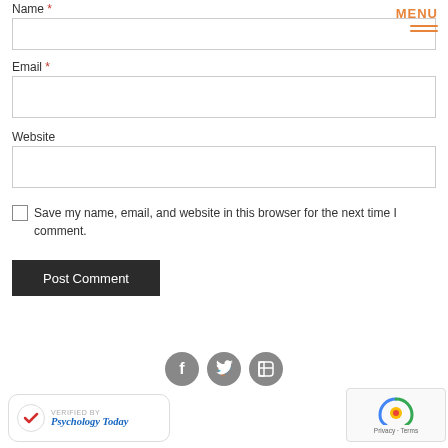Name *
Email *
Website
Save my name, email, and website in this browser for the next time I comment.
Post Comment
[Figure (screenshot): MENU button with hamburger lines in orange]
[Figure (logo): Social media icons: Facebook, Twitter, LinkedIn in grey circles]
[Figure (logo): Verified by Psychology Today badge with checkmark]
[Figure (screenshot): reCAPTCHA widget showing robot icon with Privacy and Terms links]